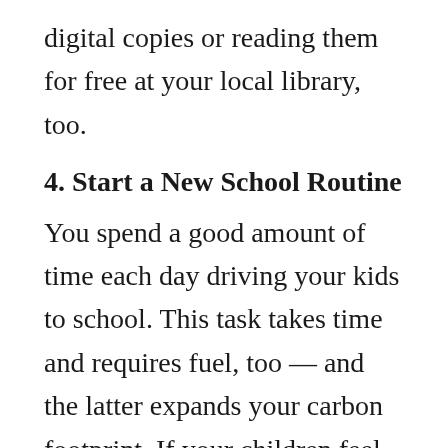digital copies or reading them for free at your local library, too.
4. Start a New School Routine
You spend a good amount of time each day driving your kids to school. This task takes time and requires fuel, too — and the latter expands your carbon footprint. If your children feel open to it, you might consider trying out a new educational opportunity. Rather than going to school, your kids might want to try cyber school, which works much